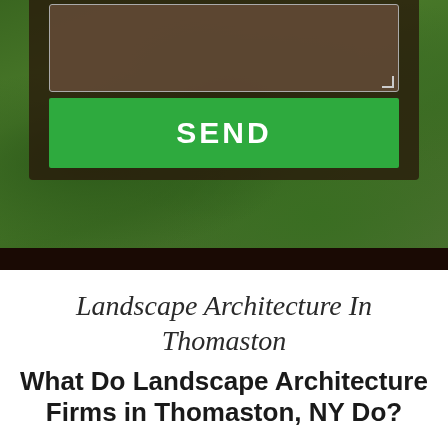[Figure (photo): Background photo of green grass/lawn with a dark soil area, showing a textarea input box and a green SEND button as part of a web form overlay]
Landscape Architecture In Thomaston
What Do Landscape Architecture Firms in Thomaston, NY Do?